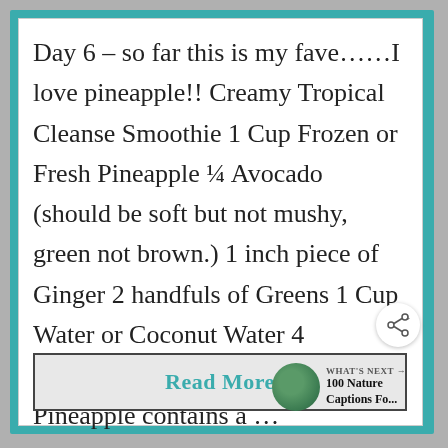Day 6 – so far this is my fave……I love pineapple!! Creamy Tropical Cleanse Smoothie 1 Cup Frozen or Fresh Pineapple ¼ Avocado (should be soft but not mushy, green not brown.) 1 inch piece of Ginger 2 handfuls of Greens 1 Cup Water or Coconut Water 4 Smoothie Health Tips: 1. Pineapple contains a …
[Figure (other): Read More button with teal border and gray background]
[Figure (other): Share icon button (circular white button with share symbol)]
WHAT'S NEXT → 100 Nature Captions Fo...